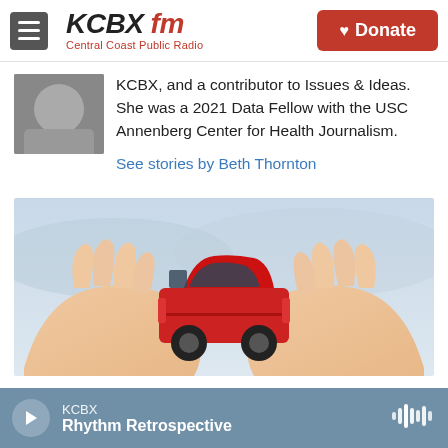KCBX FM — Central Coast Public Radio | Donate
KCBX, and a contributor to Issues & Ideas. She was a 2021 Data Fellow with the USC Annenberg Center for Health Journalism.
See stories by Beth Thornton
[Figure (photo): Hands cupping a small red toy car against a light blue background]
KCBX — Rhythm Retrospective